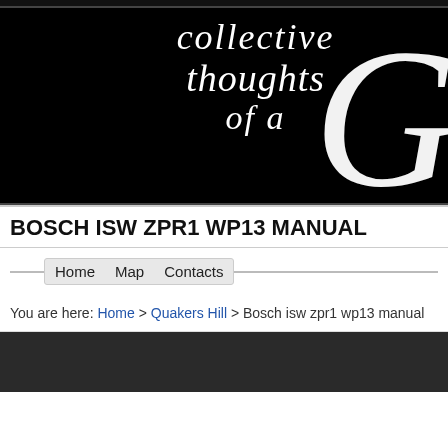[Figure (illustration): Black banner header with cursive/calligraphy text reading 'collective thoughts of a' and a large decorative capital G letter on the right side]
BOSCH ISW ZPR1 WP13 MANUAL
Home   Map   Contacts
You are here: Home > Quakers Hill > Bosch isw zpr1 wp13 manual
[Figure (other): Dark gray/black rectangular block at the bottom of the page]